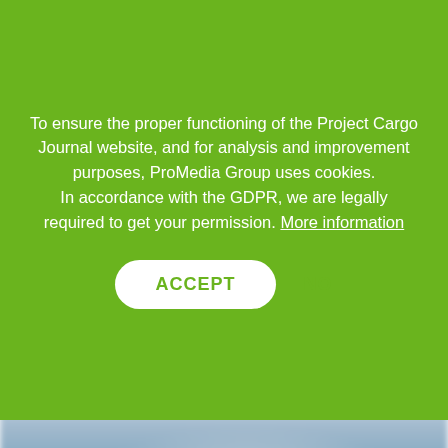To ensure the proper functioning of the Project Cargo Journal website, and for analysis and improvement purposes, ProMedia Group uses cookies. In accordance with the GDPR, we are legally required to get your permission. More information
ACCEPT
NO
[Figure (photo): Blurred photograph visible below the cookie consent overlay, appearing to show a harbor or port scene with ships and cargo, with blue sky and water tones visible.]